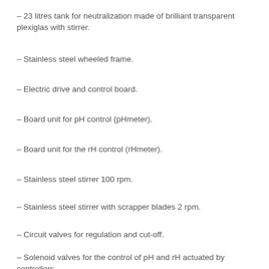– 23 litres tank for neutralization made of brilliant transparent plexiglas with stirrer.
– Stainless steel wheeled frame.
– Electric drive and control board.
– Board unit for pH control (pHmeter).
– Board unit for the rH control (rHmeter).
– Stainless steel stirrer 100 rpm.
– Stainless steel stirrer with scrapper blades 2 rpm.
– Circuit valves for regulation and cut-off.
– Solenoid valves for the control of pH and rH actuated by controllers.